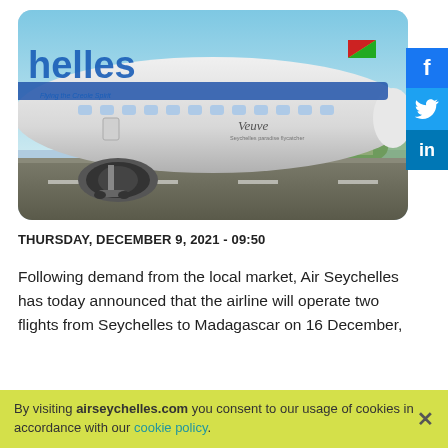[Figure (photo): Air Seychelles airplane on runway, close-up of nose and front fuselage with 'helles' branding and 'Veuve' text, blue sky background]
THURSDAY, DECEMBER 9, 2021 - 09:50
Following demand from the local market, Air Seychelles has today announced that the airline will operate two flights from Seychelles to Madagascar on 16 December,
By visiting airseychelles.com you consent to our usage of cookies in accordance with our cookie policy.